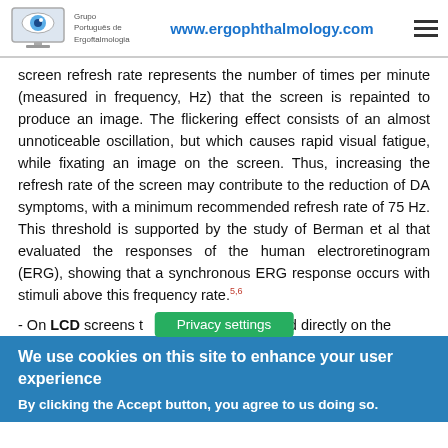Grupo Português de Ergoftalmologia | www.ergophthalmology.com
screen refresh rate represents the number of times per minute (measured in frequency, Hz) that the screen is repainted to produce an image. The flickering effect consists of an almost unnoticeable oscillation, but which causes rapid visual fatigue, while fixating an image on the screen. Thus, increasing the refresh rate of the screen may contribute to the reduction of DA symptoms, with a minimum recommended refresh rate of 75 Hz. This threshold is supported by the study of Berman et al that evaluated the responses of the human electroretinogram (ERG), showing that a synchronous ERG response occurs with stimuli above this frequency rate.5,6
- On LCD screens t[…]med directly on the
We use cookies on this site to enhance your user experience
By clicking the Accept button, you agree to us doing so.